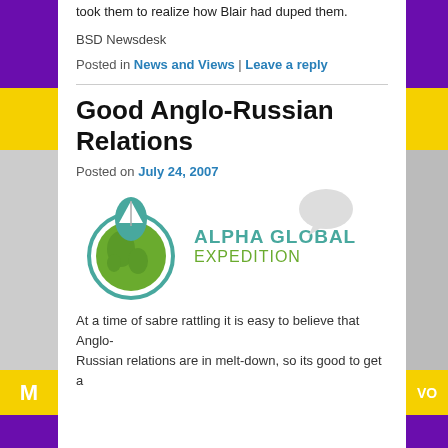took them to realize how Blair had duped them.
BSD Newsdesk
Posted in News and Views | Leave a reply
Good Anglo-Russian Relations
Posted on July 24, 2007
[Figure (logo): Alpha Global Expedition logo with globe, sailboat and teal/green text]
At a time of sabre rattling it is easy to believe that Anglo-Russian relations are in melt-down, so its good to get a